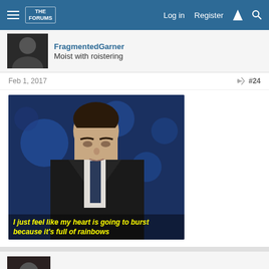Log in  Register
Moist with roistering
Feb 1, 2017  #24
[Figure (photo): Animated GIF of a man in a suit looking down with a blue star background. Subtitle text in yellow italic reads: I just feel like my heart is going to burst because it's full of rainbows]
VoidGear.
red gay
Feb 1, 2017  #25